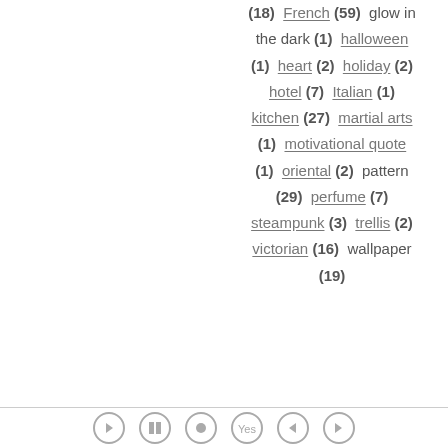(18) French (59) glow in the dark (1) halloween (1) heart (2) holiday (2) hotel (7) Italian (1) kitchen (27) martial arts (1) motivational quote (1) oriental (2) pattern (29) perfume (7) steampunk (3) trellis (2) victorian (16) wallpaper (19)
[navigation icons]